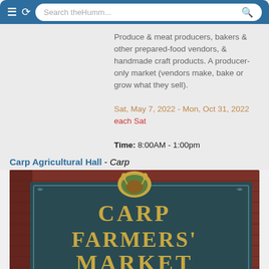Search the Humm...
Produce & meat producers, bakers & other prepared-food vendors, & handmade craft products. A producer-only market (vendors make, bake or grow what they sell).
Sat, May 7, 2022 - Mon, Oct 31, 2022
each Sat
Time: 8:00AM - 1:00pm
Carp Agricultural Hall - Carp
[Figure (photo): Photo of the Carp Farmers' Market sign mounted on a red wooden barn wall. The sign reads: CARP FARMERS' MARKET SATURDAYS 8 AM~1 PM MAY to OCTOBER]